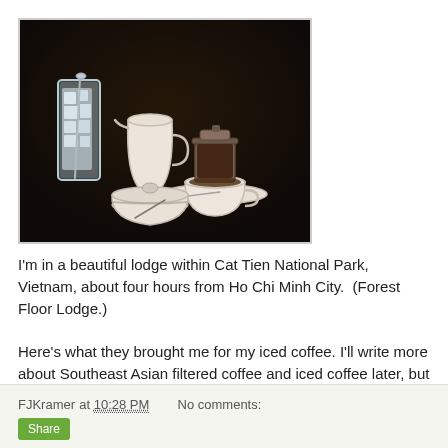[Figure (photo): Vietnamese iced coffee setup on a dark table: a tall glass of ice with a spoon, a small ceramic creamer/milk jug, a Vietnamese phin coffee filter dripping into a white ceramic cup on a saucer, and a sugar bowl with lid.]
I'm in a beautiful lodge within Cat Tien National Park, Vietnam, about four hours from Ho Chi Minh City.  (Forest Floor Lodge.)
Here's what they brought me for my iced coffee. I'll write more about Southeast Asian filtered coffee and iced coffee later, but I just wanted to share this lovely moment.
FJKramer at 10:28 PM   No comments: